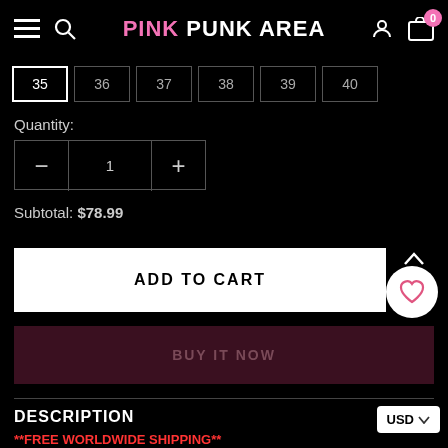PINK PUNK AREA
35 (selected), 36, 37, 38, 39, 40
Quantity:
1
Subtotal: $78.99
ADD TO CART
BUY IT NOW
DESCRIPTION
**FREE WORLDWIDE SHIPPING**